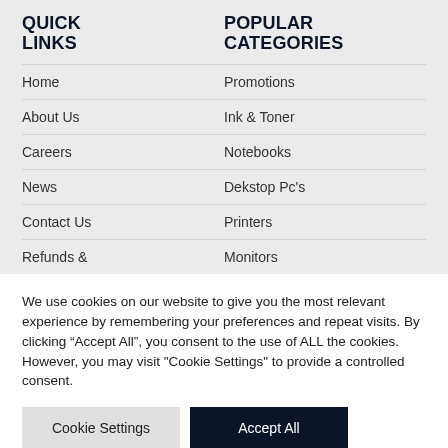QUICK LINKS
POPULAR CATEGORIES
Home
About Us
Careers
News
Contact Us
Refunds &
Promotions
Ink & Toner
Notebooks
Dekstop Pc's
Printers
Monitors
We use cookies on our website to give you the most relevant experience by remembering your preferences and repeat visits. By clicking “Accept All”, you consent to the use of ALL the cookies. However, you may visit "Cookie Settings" to provide a controlled consent.
Cookie Settings | Accept All